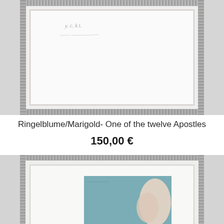[Figure (photo): A framed artwork with decorative dotted/beaded white frame showing the back of an artwork with handwriting visible, mounted on a gray wall. Only upper portion visible.]
Ringelblume/Marigold- One of the twelve Apostles
150,00 €
[Figure (photo): A framed artwork with decorative dotted/beaded white frame containing a painting or print showing a teal/blue-green rectangular area with a pale hand or figure shape visible. Only upper portion of second artwork visible.]